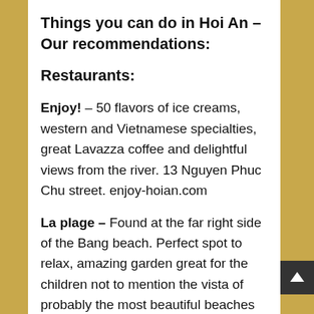Things you can do in Hoi An – Our recommendations:
Restaurants:
Enjoy! – 50 flavors of ice creams, western and Vietnamese specialties, great Lavazza coffee and delightful views from the river. 13 Nguyen Phuc Chu street. enjoy-hoian.com
La plage – Found at the far right side of the Bang beach. Perfect spot to relax, amazing garden great for the children not to mention the vista of probably the most beautiful beaches on the planet. Western and Vietnamese dishes, billiard table, amazing in the...